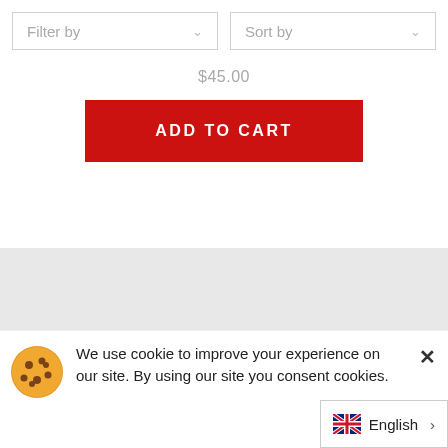[Figure (screenshot): Filter by and Sort by dropdown controls at the top of a product listing page]
$45.00
ADD TO CART
[Figure (other): Gray placeholder area for product content]
We use cookie to improve your experience on our site. By using our site you consent cookies.
English